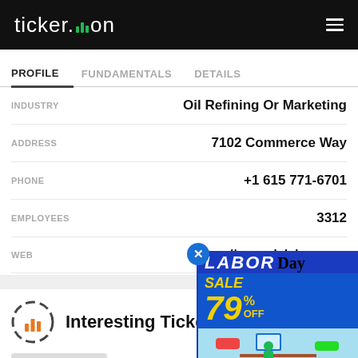ticker.on
PROFILE  FUNDAMENTALS  DETAILS
| Field | Value |
| --- | --- |
| INDUSTRY | Oil Refining Or Marketing |
| ADDRESS | 7102 Commerce Way |
| PHONE | +1 615 771-6701 |
| EMPLOYEES | 3312 |
| WEB | https://www.delekus.com |
Interesting Tickers
[Figure (illustration): Labor Day Sale advertisement overlay: 79% OFF, with blue background and person at computer illustration. Close button (x) in top-left of ad.]